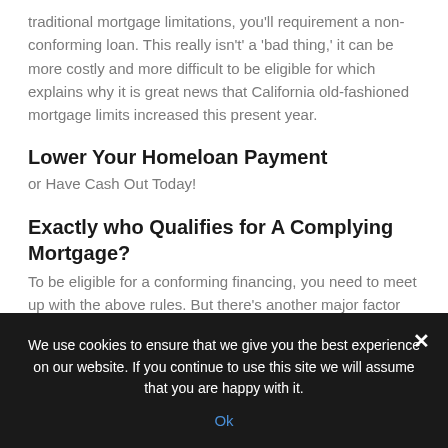traditional mortgage limitations, you'll requirement a non-conforming loan. This really isn't' a 'bad thing,' it can be more costly and more difficult to be eligible for which explains why it is great news that California old-fashioned mortgage limits increased this present year.
Lower Your Homeloan Payment
or Have Cash Out Today!
Exactly who Qualifies for A Complying Mortgage?
To be eligible for a conforming financing, you need to meet up with the above rules. But there's another major factor you should give consideration to.
You must have the money you can confirm beyond a fair question. Conforming loan companies must confirm they
We use cookies to ensure that we give you the best experience on our website. If you continue to use this site we will assume that you are happy with it.
Ok